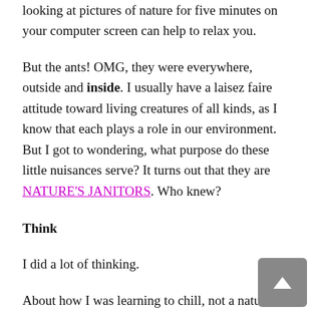looking at pictures of nature for five minutes on your computer screen can help to relax you.
But the ants! OMG, they were everywhere, outside and inside. I usually have a laisez faire attitude toward living creatures of all kinds, as I know that each plays a role in our environment. But I got to wondering, what purpose do these little nuisances serve? It turns out that they are NATURE'S JANITORS. Who knew?
Think
I did a lot of thinking.
About how I was learning to chill, not a natural state for me. What IS natural for me is worrying and over-thinking. Seriously, I've got to get over